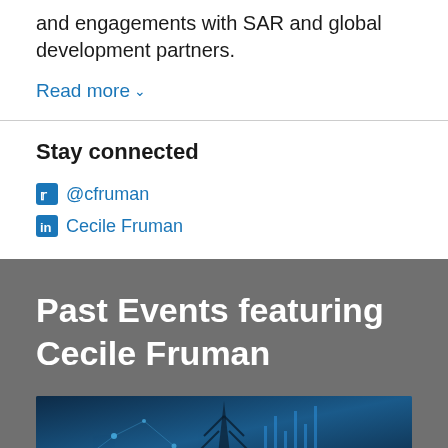and engagements with SAR and global development partners.
Read more
Stay connected
@cfruman
Cecile Fruman
Past Events featuring Cecile Fruman
[Figure (photo): Blue-toned photo of an electrical power transmission tower with financial/data chart overlay graphics in the background.]